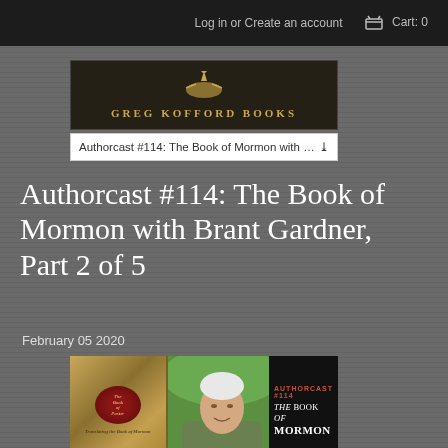Log in or Create an account   Cart: 0
[Figure (logo): Greg Kofford Books logo with golden angel figure and text in gold letters on dark background]
Authorcast #114: The Book of Mormon with Br. ▾
Authorcast #114: The Book of Mormon with Brant Gardner, Part 2 of 5
February 05 2020
[Figure (photo): Authorcast #114 promotional image showing book cover for Translating the Book of Mormon on the left, photo of Brant Gardner (older white-haired man in green background) in the center, and text THE BOOK OF MORMON on a dark right panel]